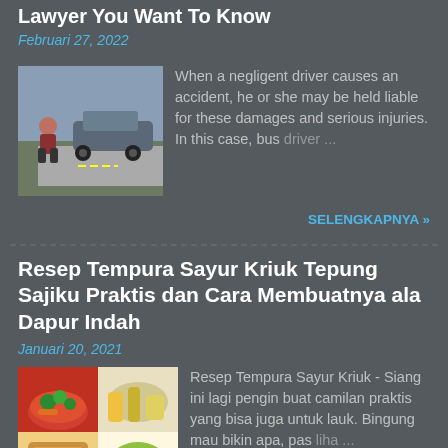Lawyer You Want To Know
Februari 27, 2022
[Figure (photo): Woman crouching near car accident scene]
When a negligent driver causes an accident, he or she may be held liable for these damages and serious injuries. In this case, bus driver...
SELENGKAPNYA »
Resep Tempura Sayur Kriuk Tepung Sajiku Praktis dan Cara Membuatnya ala Dapur Indah
Januari 20, 2021
[Figure (photo): Food collage with tempura vegetables]
Resep Tempura Sayur Kriuk - Siang ini lagi pengin buat camilan praktis yang bisa juga untuk lauk. Bingung mau bikin apa, pas liha...
SELENGKAPNYA »